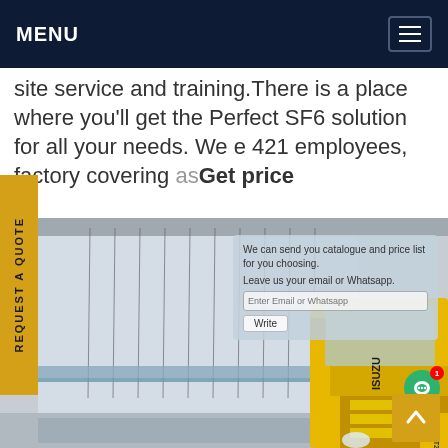MENU
site service and training.There is a place where you'll get the Perfect SF6 solution for all your needs. We e 421 employees, factory covering asGet price
REQUEST A QUOTE
[Figure (photo): Industrial facility showing suspended cable assemblies along a large glass-walled hall, with a yellow ISUZU truck in the foreground. A semi-transparent popup overlay shows a price request form with fields for email/WhatsApp and a Write button.]